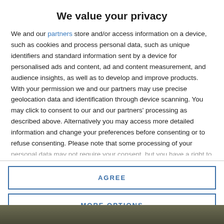We value your privacy
We and our partners store and/or access information on a device, such as cookies and process personal data, such as unique identifiers and standard information sent by a device for personalised ads and content, ad and content measurement, and audience insights, as well as to develop and improve products. With your permission we and our partners may use precise geolocation data and identification through device scanning. You may click to consent to our and our partners' processing as described above. Alternatively you may access more detailed information and change your preferences before consenting or to refuse consenting. Please note that some processing of your personal data may not require your consent, but you have a right to
AGREE
MORE OPTIONS